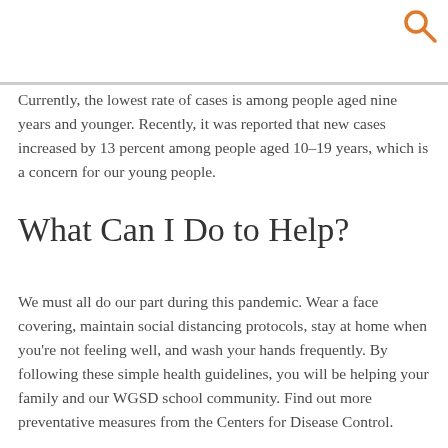[Figure (other): Orange search/magnifying glass icon in top right corner]
Currently, the lowest rate of cases is among people aged nine years and younger. Recently, it was reported that new cases increased by 13 percent among people aged 10–19 years, which is a concern for our young people.
What Can I Do to Help?
We must all do our part during this pandemic. Wear a face covering, maintain social distancing protocols, stay at home when you're not feeling well, and wash your hands frequently. By following these simple health guidelines, you will be helping your family and our WGSD school community. Find out more preventative measures from the Centers for Disease Control.